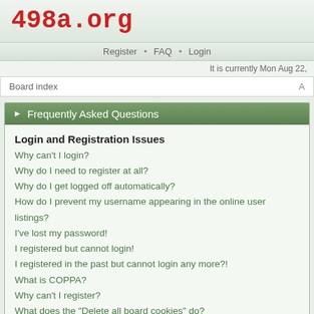498a.org
Register • FAQ • Login
It is currently Mon Aug 22,
Board index
Frequently Asked Questions
Login and Registration Issues
Why can't I login?
Why do I need to register at all?
Why do I get logged off automatically?
How do I prevent my username appearing in the online user listings?
I've lost my password!
I registered but cannot login!
I registered in the past but cannot login any more?!
What is COPPA?
Why can't I register?
What does the "Delete all board cookies" do?
User Preferences and settings
How do I change my settings?
The times are not correct!
I changed the timezone and the time is still wrong!
My language is not in the list!
How do I show an image along with my username?